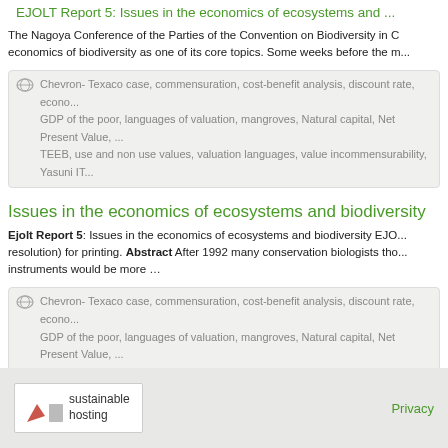EJOLT Report 5: Issues in the economics of ecosystems and...
The Nagoya Conference of the Parties of the Convention on Biodiversity in C... economics of biodiversity as one of its core topics. Some weeks before the m...
Chevron- Texaco case, commensuration, cost-benefit analysis, discount rate, econo... GDP of the poor, languages of valuation, mangroves, Natural capital, Net Present Value,... TEEB, use and non use values, valuation languages, value incommensurability, Yasuni IT...
Issues in the economics of ecosystems and biodiversity
Ejolt Report 5: Issues in the economics of ecosystems and biodiversity EJO... resolution) for printing. Abstract After 1992 many conservation biologists tho... instruments would be more …
Chevron- Texaco case, commensuration, cost-benefit analysis, discount rate, econo... GDP of the poor, languages of valuation, mangroves, Natural capital, Net Present Value,... TEEB, use and non use values, valuation languages, value incommensurability, Yasuni IT...
sustainable hosting  Privacy